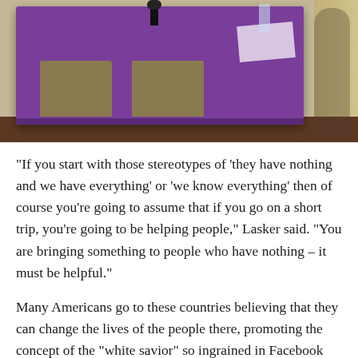[Figure (photo): Photo of a room with a purple tablecloth-covered table, tan/brown chairs in the foreground, a microphone on the table, and a curtain on the right side.]
“If you start with those stereotypes of ‘they have nothing and we have everything’ or ‘we know everything’ then of course you’re going to assume that if you go on a short trip, you’re going to be helping people,” Lasker said. “You are bringing something to people who have nothing – it must be helpful.”
Many Americans go to these countries believing that they can change the lives of the people there, promoting the concept of the “white savior” so ingrained in Facebook feeds and blog posts. In reality, most trips are so short that volunteers spend more time getting oriented to the facilities than they spend helping the